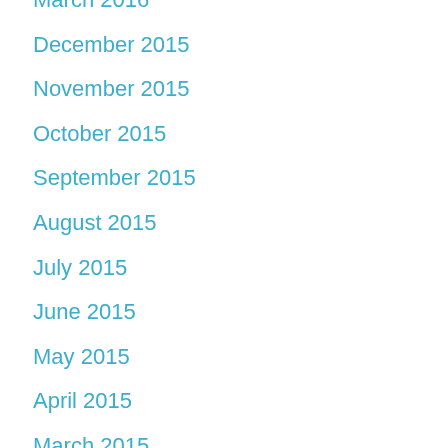March 2016
December 2015
November 2015
October 2015
September 2015
August 2015
July 2015
June 2015
May 2015
April 2015
March 2015
February 2015
January 2015
December 2014